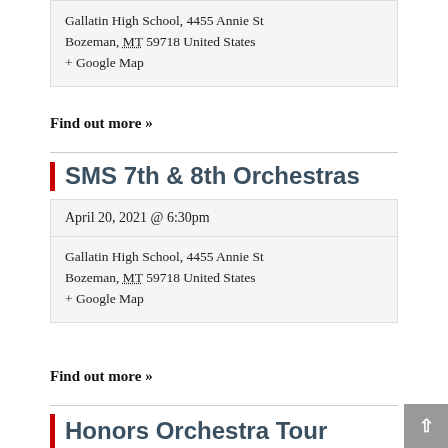Gallatin High School, 4455 Annie St Bozeman, MT 59718 United States + Google Map
Find out more »
SMS 7th & 8th Orchestras
April 20, 2021 @ 6:30pm
Gallatin High School, 4455 Annie St Bozeman, MT 59718 United States + Google Map
Find out more »
Honors Orchestra Tour